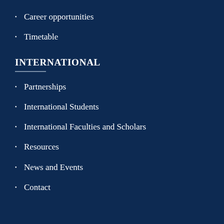Career opportunities
Timetable
INTERNATIONAL
Partnerships
International Students
International Faculties and Scholars
Resources
News and Events
Contact